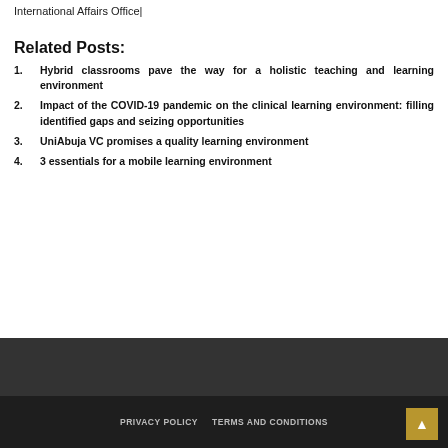International Affairs Office|
Related Posts:
Hybrid classrooms pave the way for a holistic teaching and learning environment
Impact of the COVID-19 pandemic on the clinical learning environment: filling identified gaps and seizing opportunities
UniAbuja VC promises a quality learning environment
3 essentials for a mobile learning environment
PRIVACY POLICY   TERMS AND CONDITIONS